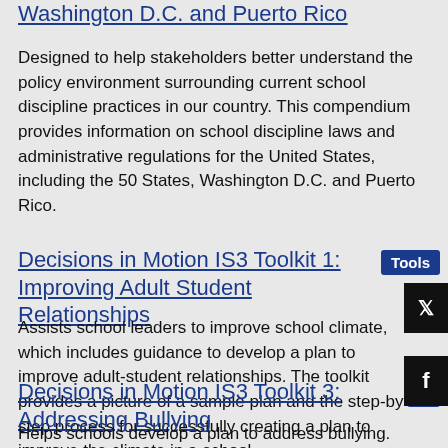Washington D.C. and Puerto Rico
Designed to help stakeholders better understand the policy environment surrounding current school discipline practices in our country. This compendium provides information on school discipline laws and administrative regulations for the United States, including the 50 States, Washington D.C. and Puerto Rico.
Decisions in Motion IS3 Toolkit 1: Improving Adult Student Relationships
Assists school leaders to improve school climate, which includes guidance to develop a plan to improve adult-student relationships. The toolkit provides a picture of a sample plan and the step-by-step process for successfully creating a plan to improve the climate in a school.
Decisions in Motion IS3 Toolkit 3: Addressing Bullying
Helps schools develop a plan to address bullying. The